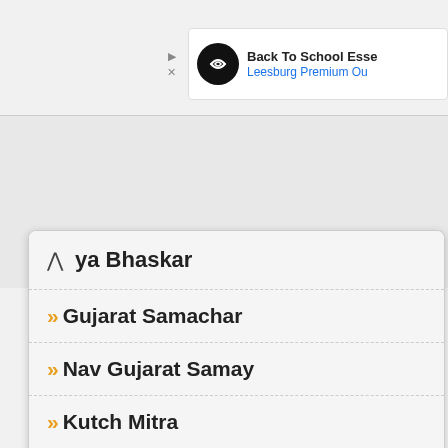[Figure (screenshot): Top advertisement banner showing Back To School Essentials - Leesburg Premium Outlets]
ya Bhaskar
Gujarat Samachar
Nav Gujarat Samay
Kutch Mitra
Akila News
Nutan Saurashtra
News On Air
[Figure (screenshot): Bottom area showing Petco store with in-store shopping and curbside pickup options, navigation arrow]